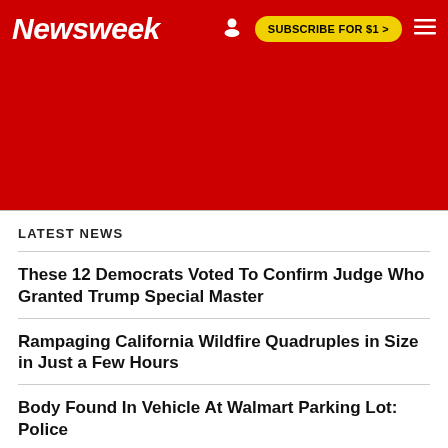Newsweek | SUBSCRIBE FOR $1 >
[Figure (other): Red advertisement banner area]
LATEST NEWS
These 12 Democrats Voted To Confirm Judge Who Granted Trump Special Master
Rampaging California Wildfire Quadruples in Size in Just a Few Hours
Body Found In Vehicle At Walmart Parking Lot: Police
Today's Wordle #444 Answer and Clues—Tuesday, September 6 Word Game